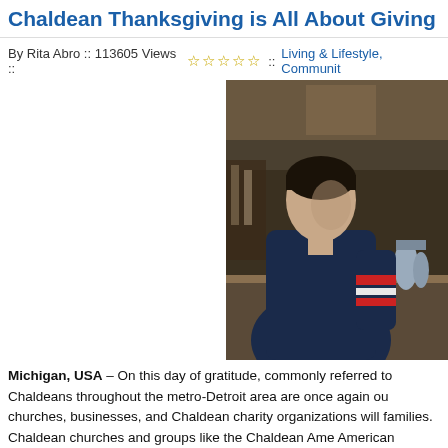Chaldean Thanksgiving is All About Giving
By Rita Abro :: 113605 Views :: ☆☆☆☆☆ :: Living & Lifestyle, Community
[Figure (photo): A man in a dark navy sweater with red and white stripes on the sleeve, leaning over a counter or bar in what appears to be a restaurant setting.]
Michigan, USA – On this day of gratitude, commonly referred to Chaldeans throughout the metro-Detroit area are once again ou churches, businesses, and Chaldean charity organizations will families.  Chaldean churches and groups like the Chaldean Ame American Professionals plan on distributing thanksgiving meals
Other Chaldean charity groups like UR of the Chaldees are buyi funds to help needy refugee families scattered throughout the w trips.  Chaldean grocery stores and restaurants are also helping
Danny Yono, owner of J's Kabob restaurant will provide free Tha